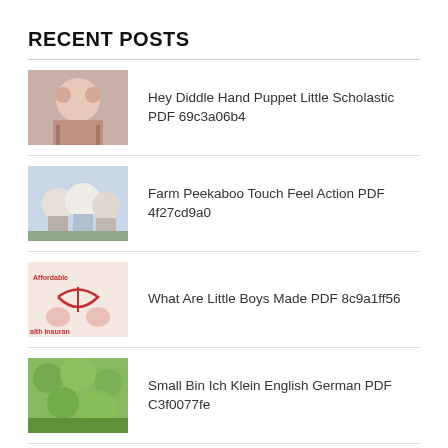RECENT POSTS
Hey Diddle Hand Puppet Little Scholastic PDF 69c3a06b4
Farm Peekaboo Touch Feel Action PDF 4f27cd9a0
What Are Little Boys Made PDF 8c9a1ff56
Small Bin Ich Klein English German PDF C3f0077fe
First Bilingual Colours English Russian PDF 7cc32ce7c